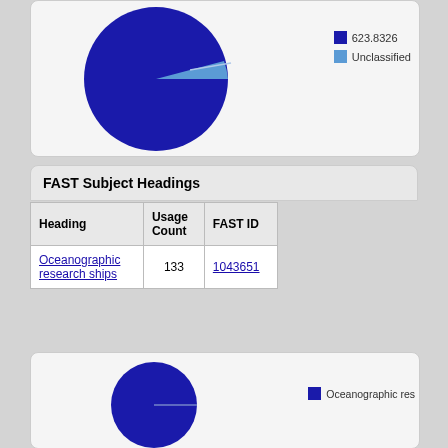[Figure (pie-chart): ]
FAST Subject Headings
| Heading | Usage Count | FAST ID |
| --- | --- | --- |
| Oceanographic research ships | 133 | 1043651 |
[Figure (pie-chart): ]